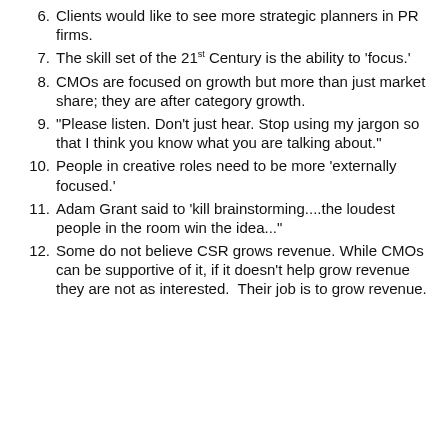6. Clients would like to see more strategic planners in PR firms.
7. The skill set of the 21st Century is the ability to 'focus.'
8. CMOs are focused on growth but more than just market share; they are after category growth.
9. "Please listen. Don't just hear. Stop using my jargon so that I think you know what you are talking about."
10. People in creative roles need to be more 'externally focused.'
11. Adam Grant said to 'kill brainstorming....the loudest people in the room win the idea...'
12. Some do not believe CSR grows revenue. While CMOs can be supportive of it, if it doesn't help grow revenue they are not as interested.  Their job is to grow revenue.